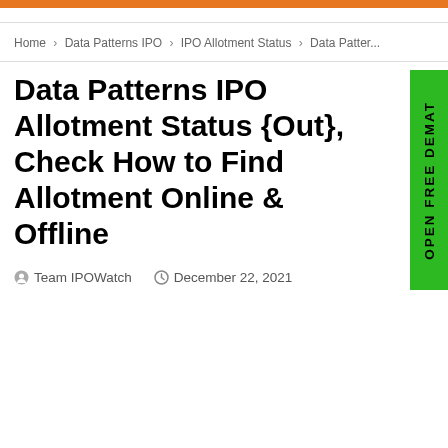[Figure (other): Orange banner bar at top of page]
Home > Data Patterns IPO > IPO Allotment Status > Data Patter...
Data Patterns IPO Allotment Status {Out}, Check How to Find Allotment Online & Offline
Team IPOWatch   December 22, 2021